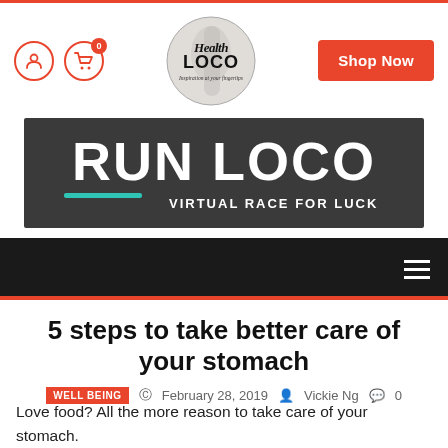[Figure (logo): Health Loco logo - circular logo with script text 'Health LOCO' and tagline 'Inspiration at your fingertips', with runner silhouette background]
[Figure (infographic): RUN LOCO - VIRTUAL RACE FOR LUCK banner. Dark grey background with bold white text 'RUN LOCO' and teal underline accent bar, subtitle 'VIRTUAL RACE FOR LUCK']
5 steps to take better care of your stomach
WELL BEING  ©  February 28, 2019   Vickie Ng   0
Love food? All the more reason to take care of your stomach.